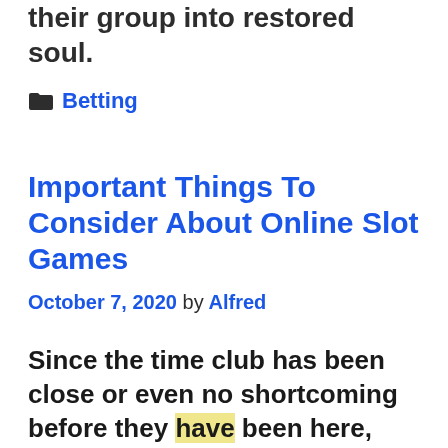without the wounds, they can bring their group into restored soul.
Betting
Important Things To Consider About Online Slot Games
October 7, 2020 by Alfred
Since the time club has been close or even no shortcoming before they have been here, people have been gotten onto video online slot games